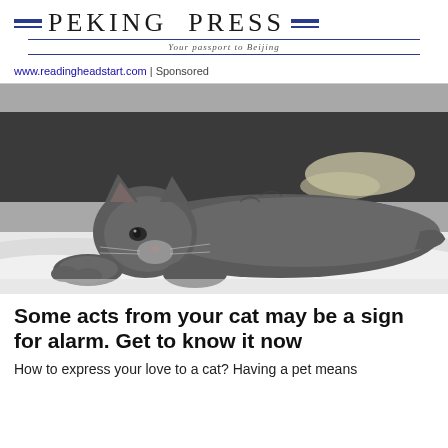[Figure (logo): Peking Press logo with blue horizontal bars and tagline 'Your passport to Beijing']
www.readingheadstart.com | Sponsored
[Figure (photo): A grey cat lying relaxed on white bed sheets with a dark headboard in the background, black and white photo]
Some acts from your cat may be a sign for alarm. Get to know it now
How to express your love to a cat? Having a pet means